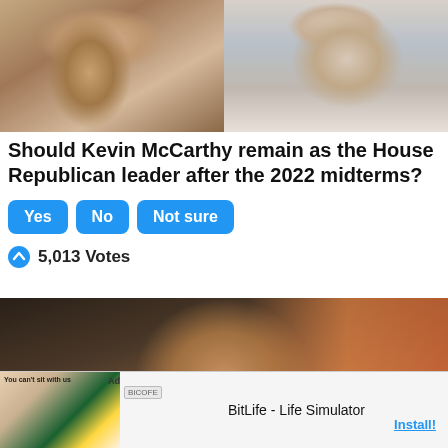[Figure (photo): Side-by-side collage photo of Nancy Pelosi (left, speaking at a microphone in white outfit) and Kevin McCarthy (right, holding a microphone in white shirt)]
Should Kevin McCarthy remain as the House Republican leader after the 2022 midterms?
Yes
No
Not sure
5,013 Votes
[Figure (photo): Photo of a man (Tucker Carlson) at what appears to be a debate or event, with orange/colorful background]
[Figure (other): Advertisement banner for BitLife - Life Simulator mobile app with 'You can't sit with us' tagline and Install button]